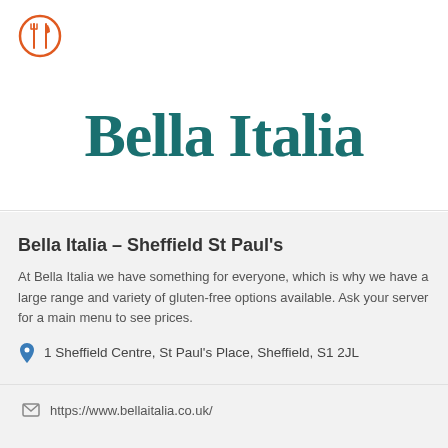[Figure (logo): Fork and knife icon inside an orange circle, top left corner]
Bella Italia
Bella Italia – Sheffield St Paul's
At Bella Italia we have something for everyone, which is why we have a large range and variety of gluten-free options available. Ask your server for a main menu to see prices.
1 Sheffield Centre, St Paul's Place, Sheffield, S1 2JL
https://www.bellaitalia.co.uk/